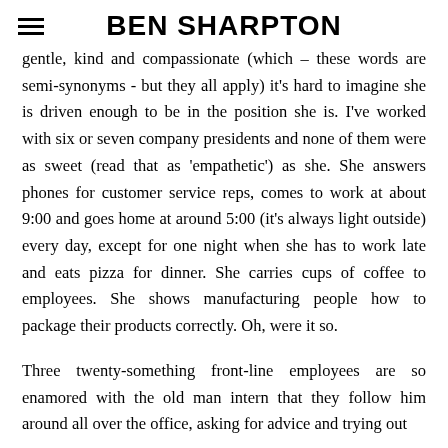BEN SHARPTON
gentle, kind and compassionate (which – these words are semi-synonyms - but they all apply) it's hard to imagine she is driven enough to be in the position she is. I've worked with six or seven company presidents and none of them were as sweet (read that as 'empathetic') as she. She answers phones for customer service reps, comes to work at about 9:00 and goes home at around 5:00 (it's always light outside) every day, except for one night when she has to work late and eats pizza for dinner. She carries cups of coffee to employees. She shows manufacturing people how to package their products correctly. Oh, were it so.
Three twenty-something front-line employees are so enamored with the old man intern that they follow him around all over the office, asking for advice and trying out